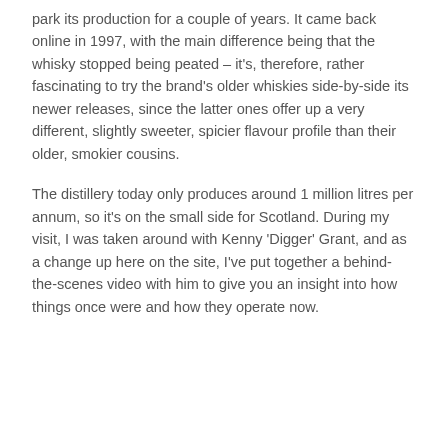park its production for a couple of years. It came back online in 1997, with the main difference being that the whisky stopped being peated – it's, therefore, rather fascinating to try the brand's older whiskies side-by-side its newer releases, since the latter ones offer up a very different, slightly sweeter, spicier flavour profile than their older, smokier cousins.
The distillery today only produces around 1 million litres per annum, so it's on the small side for Scotland. During my visit, I was taken around with Kenny 'Digger' Grant, and as a change up here on the site, I've put together a behind-the-scenes video with him to give you an insight into how things once were and how they operate now.